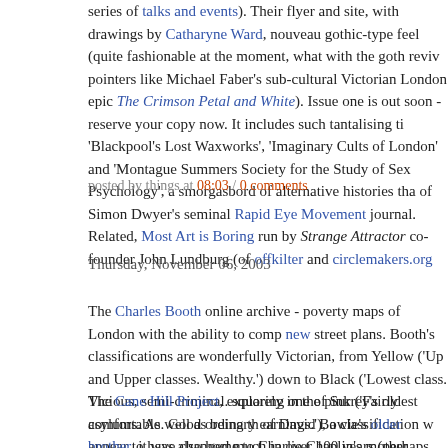series of talks and events). Their flyer and site, with drawings by Catharyne Ward, nouveau gothic-type feel (quite fashionable at the moment, what with the goth reviv pointers like Michael Faber's sub-cultural Victorian London epic The Crimson Petal and White). Issue one is out soon - reserve your copy now. It includes such tantalising ti 'Blackpool's Lost Waxworks', 'Imaginary Cults of London' and 'Montague Summers Society for the Study of Sex Psychology', a smorgasbord of alternative histories tha of Simon Dwyer's seminal Rapid Eye Movement journal. Related, Most Art is Boring run by Strange Attractor co-founder John Lundburg (of offkilter and circlemakers.org
posted by things at 08:03 / 0 comments
Thursday, November 06, 2003
The Charles Booth online archive - poverty maps of London with the ability to comp new street plans. Booth's classifications are wonderfully Victorian, from Yellow ('Up and Upper classes. Wealthy.') down to Black ('Lowest class. Vicious, semi-criminal. squarely in the pink ('Fairly comfortable. Good ordinary earnings.'), a classification w appear to have changed much in over 100 years (perhaps the occasional dip into p light blue), although Booth's map pre-dates our house by about 5 years...
The Cane Hill Project, exploring one of Surrey's oldest asylums. As well as being th of David Bowie's older brother, it was also home to Charlie Chaplin's mother, Hanna down). Simon Cornwell's Urbex isn't the only site that's been snooping around: Urb also visited, and gives a better idea of the asylum's sheer size. Both sites are well